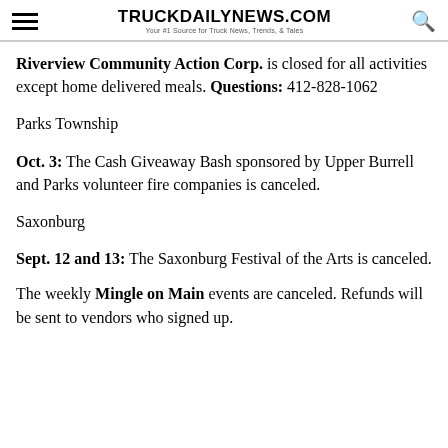TRUCKDAILYNEWS.COM — Your #1 Source for Truck News, Trends, & Tales
Riverview Community Action Corp. is closed for all activities except home delivered meals. Questions: 412-828-1062
Parks Township
Oct. 3: The Cash Giveaway Bash sponsored by Upper Burrell and Parks volunteer fire companies is canceled.
Saxonburg
Sept. 12 and 13: The Saxonburg Festival of the Arts is canceled.
The weekly Mingle on Main events are canceled. Refunds will be sent to vendors who signed up.